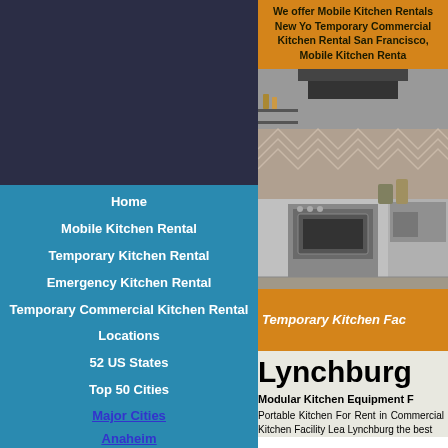We offer Mobile Kitchen Rentals New Yo Temporary Commercial Kitchen Rental San Francisco, Mobile Kitchen Renta
[Figure (photo): Commercial kitchen interior with stainless steel equipment, shelves, and appliances]
Temporary Kitchen Fac
Home
Mobile Kitchen Rental
Temporary Kitchen Rental
Emergency Kitchen Rental
Temporary Commercial Kitchen Rental
Locations
52 US States
Top 50 Cities
Major Cities
Anaheim
Atlanta
Lynchburg
Modular Kitchen Equipment F
Portable Kitchen For Rent in Commercial Kitchen Facility Lea Lynchburg the best